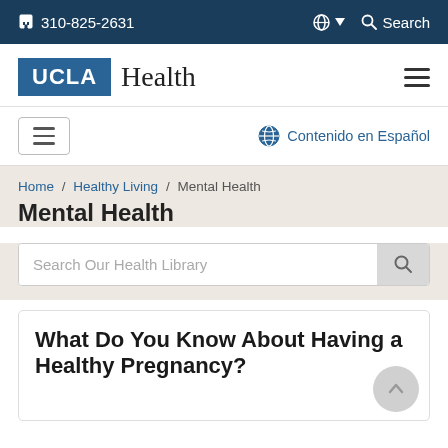310-825-2631 | Globe | Search
[Figure (logo): UCLA Health logo with blue UCLA box and serif Health text]
Contenido en Español
Home / Healthy Living / Mental Health
Mental Health
Search Our Health Library
What Do You Know About Having a Healthy Pregnancy?